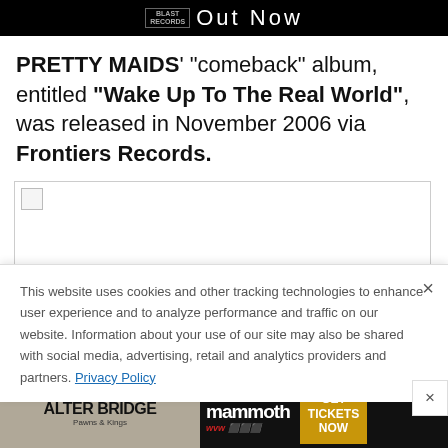[Figure (screenshot): Black banner with logo and 'Out Now' text]
PRETTY MAIDS' "comeback" album, entitled "Wake Up To The Real World", was released in November 2006 via Frontiers Records.
[Figure (photo): Image placeholder with broken image icon]
This website uses cookies and other tracking technologies to enhance user experience and to analyze performance and traffic on our website. Information about your use of our site may also be shared with social media, advertising, retail and analytics providers and partners. Privacy Policy
[Figure (screenshot): Alter Bridge Pawns & Kings advertisement banner with mammoth wvw and Get Tickets Now]